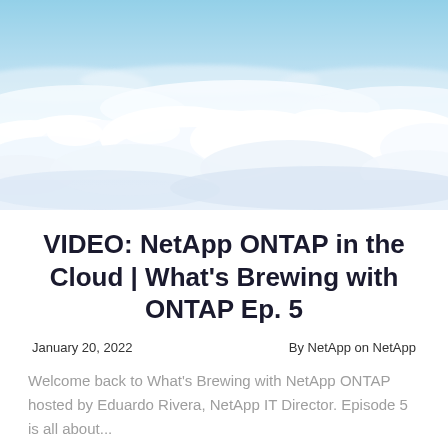[Figure (photo): Aerial photograph looking down at a dense layer of white clouds from above, with blue sky visible in the upper portion. The clouds form a vast, textured white carpet below.]
VIDEO: NetApp ONTAP in the Cloud | What's Brewing with ONTAP Ep. 5
January 20, 2022     By NetApp on NetApp
Welcome back to What's Brewing with NetApp ONTAP hosted by Eduardo Rivera, NetApp IT Director. Episode 5 is all about...